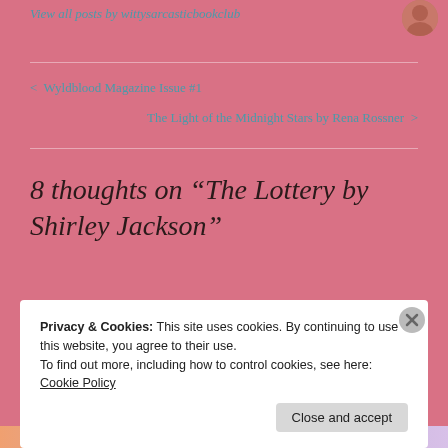View all posts by wittysarcasticbookclub
< Wyldblood Magazine Issue #1
The Light of the Midnight Stars by Rena Rossner >
8 thoughts on “The Lottery by Shirley Jackson”
Privacy & Cookies: This site uses cookies. By continuing to use this website, you agree to their use.
To find out more, including how to control cookies, see here: Cookie Policy
Close and accept